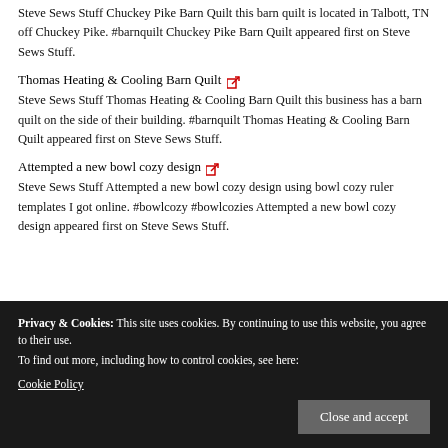Steve Sews Stuff Chuckey Pike Barn Quilt this barn quilt is located in Talbott, TN off Chuckey Pike. #barnquilt Chuckey Pike Barn Quilt appeared first on Steve Sews Stuff.
Thomas Heating & Cooling Barn Quilt [external link]
Steve Sews Stuff Thomas Heating & Cooling Barn Quilt this business has a barn quilt on the side of their building. #barnquilt Thomas Heating & Cooling Barn Quilt appeared first on Steve Sews Stuff.
Attempted a new bowl cozy design [external link]
Steve Sews Stuff Attempted a new bowl cozy design using bowl cozy ruler templates I got online. #bowlcozy #bowlcozies Attempted a new bowl cozy design appeared first on Steve Sews Stuff.
Privacy & Cookies: This site uses cookies. By continuing to use this website, you agree to their use.
To find out more, including how to control cookies, see here:
Cookie Policy
Close and accept